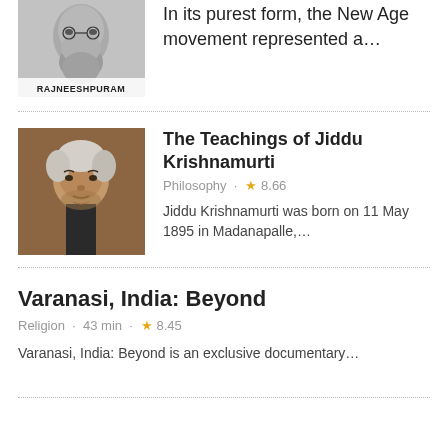[Figure (photo): Portrait photo of bearded spiritual teacher (Rajneeshpuram) with label RAJNEESHPURAM at bottom]
In its purest form, the New Age movement represented a…
[Figure (photo): Portrait photo of elderly Jiddu Krishnamurti]
The Teachings of Jiddu Krishnamurti
Philosophy · ★8.66
Jiddu Krishnamurti was born on 11 May 1895 in Madanapalle,…
Varanasi, India: Beyond
Religion · 43 min · ★8.45
Varanasi, India: Beyond is an exclusive documentary…